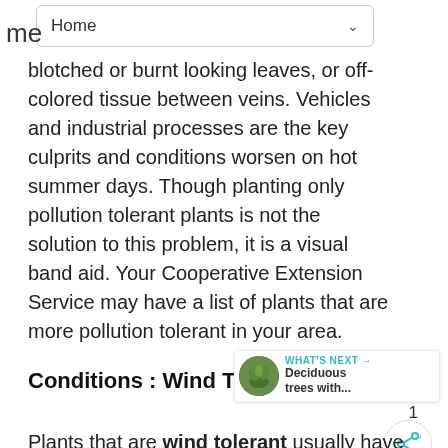me  Home
blotched or burnt looking leaves, or off-colored tissue between veins. Vehicles and industrial processes are the key culprits and conditions worsen on hot summer days. Though planting only pollution tolerant plants is not the solution to this problem, it is a visual band aid. Your Cooperative Extension Service may have a list of plants that are more pollution tolerant in your area.
Conditions : Wind Tolerant
Plants that are wind tolerant usually have flexible, strong branches that are not brittle. Wind tolerant plants often have thick or waxy